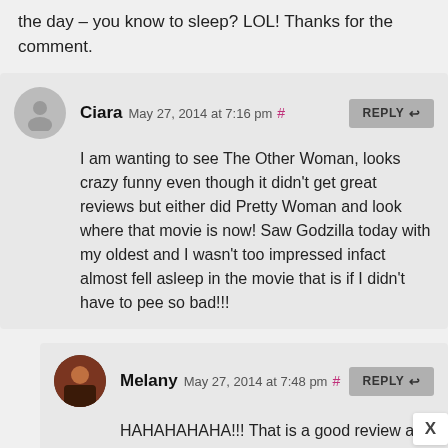the day – you know to sleep? LOL! Thanks for the comment.
Ciara May 27, 2014 at 7:16 pm # I am wanting to see The Other Woman, looks crazy funny even though it didn't get great reviews but either did Pretty Woman and look where that movie is now! Saw Godzilla today with my oldest and I wasn't too impressed infact almost fell asleep in the movie that is if I didn't have to pee so bad!!!
Melany May 27, 2014 at 7:48 pm # HAHAHAHAHA!!! That is a good review and